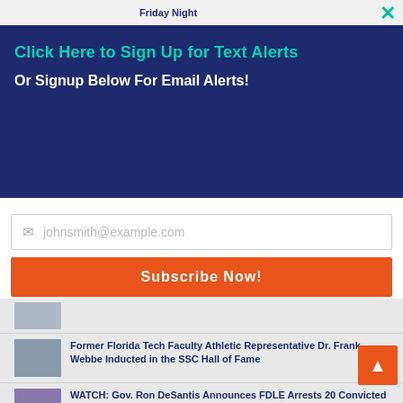Friday Night
Click Here to Sign Up for Text Alerts
Or Signup Below For Email Alerts!
johnsmith@example.com
Subscribe Now!
Former Florida Tech Faculty Athletic Representative Dr. Frank Webbe Inducted in the SSC Hall of Fame
WATCH: Gov. Ron DeSantis Announces FDLE Arrests 20 Convicted Murders, Sex Offenders for Voting Illegally
NASA to Announce Candidate Landing Regions for Artemis III Moon Mission Targeted for 2025
PHOTO OF THE DAY: NASA's Voyager 1 Probe Captures Jupiter's